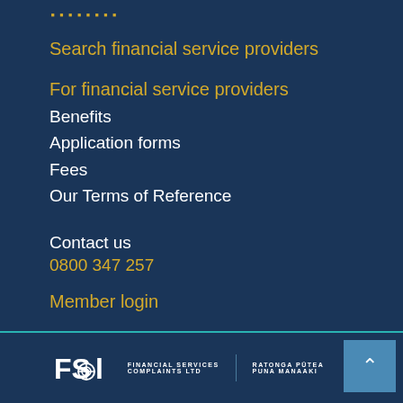▪▪▪▪▪▪▪▪
Search financial service providers
For financial service providers
Benefits
Application forms
Fees
Our Terms of Reference
Contact us
0800 347 257
Member login
FINANCIAL SERVICES COMPLAINTS LTD | RATONGA PŪTEA PUNA MANAAKI